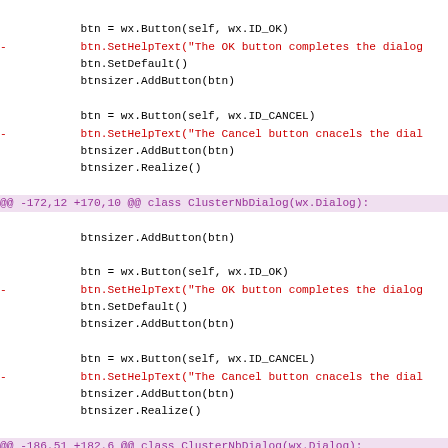Code diff showing changes to ClusterNbDialog and EncodeDialog in a Python wxWidgets file
btn = wx.Button(self, wx.ID_OK)
- btn.SetHelpText("The OK button completes the dialog
  btn.SetDefault()
  btnsizer.AddButton(btn)

  btn = wx.Button(self, wx.ID_CANCEL)
- btn.SetHelpText("The Cancel button cnacels the dial
  btnsizer.AddButton(btn)
  btnsizer.Realize()

@@ -172,12 +170,10 @@ class ClusterNbDialog(wx.Dialog):
        btnsizer.AddButton(btn)

        btn = wx.Button(self, wx.ID_OK)
-       btn.SetHelpText("The OK button completes the dialog
        btn.SetDefault()
        btnsizer.AddButton(btn)

        btn = wx.Button(self, wx.ID_CANCEL)
-       btn.SetHelpText("The Cancel button cnacels the dial
        btnsizer.AddButton(btn)
        btnsizer.Realize()

@@ -186,51 +182,6 @@ class ClusterNbDialog(wx.Dialog):
        self.SetSizer(sizer)
        sizer.Fit(self)

-class EncodeDialog(wx.Dialog):
-    def __init__(self, *args, **kwds):
-        # begin wxGlade: MyDialog.__init__
-        kwds["style"] = wx.DEFAULT_DIALOG_STYLE
-        kwds["size"] = wx.Size(100, 60)